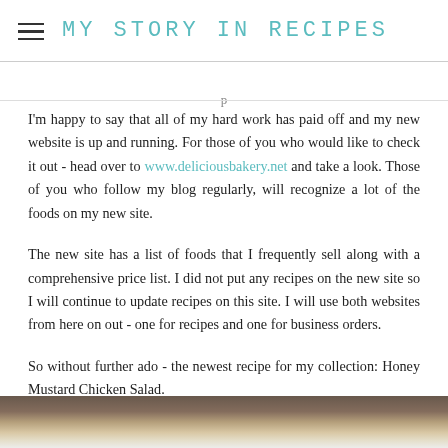MY STORY IN RECIPES
I'm happy to say that all of my hard work has paid off and my new website is up and running.  For those of you who would like to check it out - head over to www.deliciousbakery.net and take a look.   Those of you who follow my blog regularly, will recognize a lot of the foods on my new site.
The new site has a list of foods that I frequently sell along with a comprehensive price list.  I did not put any recipes on the new site so I will continue to update recipes on this site.  I will use both websites from here on out - one for recipes and one for business orders.
So without further ado - the newest recipe for my collection: Honey Mustard Chicken Salad.
[Figure (photo): Partial view of a food photo at bottom of page, showing a chicken salad dish]